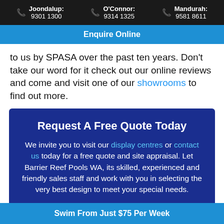Joondalup: 9301 1300 | O'Connor: 9314 1325 | Mandurah: 9581 8611
Enquire Online
to us by SPASA over the past ten years. Don't take our word for it check out our online reviews and come and visit one of our showrooms to find out more.
Request A Free Quote Today
We invite you to visit our display centres or contact us today for a free quote and site appraisal. Let Barrier Reef Pools WA, its skilled, experienced and friendly sales staff and work with you in selecting the very best design to meet your special needs.
Swim From Just $75 Per Week